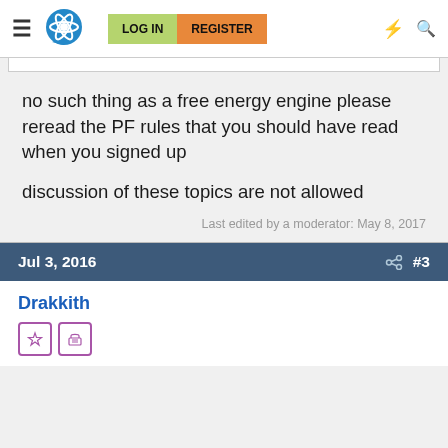Physics Forums — LOG IN | REGISTER
no such thing as a free energy engine please reread the PF rules that you should have read when you signed up

discussion of these topics are not allowed
Last edited by a moderator: May 8, 2017
Jul 3, 2016 #3
Drakkith